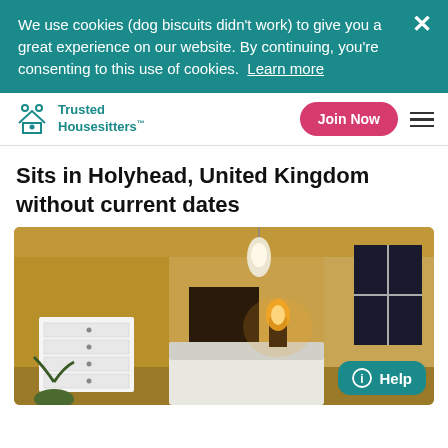We use cookies (dog biscuits didn't work) to give you a great experience on our website. By continuing, you're consenting to this use of cookies.  Learn more
Trusted Housesitters™
Sits in Holyhead, United Kingdom without current dates
[Figure (photo): Interior bedroom photo with warm yellow/orange walls, white dresser with dark knobs, a bedside lamp glowing orange, a bed with white bedding, a dark fireplace or wardrobe in the background, and a window showing darkness outside. A 'Help' badge appears in the bottom right corner.]